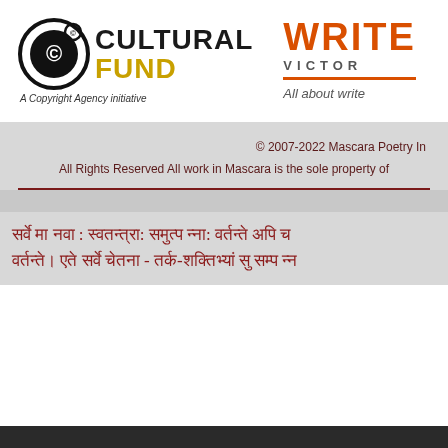[Figure (logo): Cultural Fund logo with copyright circle symbol and text 'CULTURAL FUND - A Copyright Agency initiative']
[Figure (logo): Writers Victoria logo with stylized 'WRITE' text in orange/red, 'VICTORIA' subtitle, orange underline, and tagline 'All about write']
© 2007-2022 Mascara Poetry In
All Rights Reserved All work in Mascara is the sole property of
सर्वे मा नवा : स्वतन्त्रा: समुत्प न्ना: वर्तन्ते अपि च वर्तन्ते। एते सर्वे चेतना - तर्क-शक्तिभ्यां सु सम्प न्न